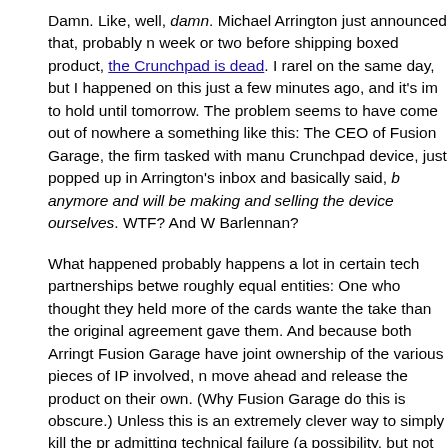Damn. Like, well, damn. Michael Arrington just announced that, probably n week or two before shipping boxed product, the Crunchpad is dead. I rarel on the same day, but I happened on this just a few minutes ago, and it's im to hold until tomorrow. The problem seems to have come out of nowhere a something like this: The CEO of Fusion Garage, the firm tasked with manu Crunchpad device, just popped up in Arrington's inbox and basically said, b anymore and will be making and selling the device ourselves. WTF? And W Barlennan?
What happened probably happens a lot in certain tech partnerships betwe roughly equal entities: One who thought they held more of the cards wante the take than the original agreement gave them. And because both Arringt Fusion Garage have joint ownership of the various pieces of IP involved, n move ahead and release the product on their own. (Why Fusion Garage do this is obscure.) Unless this is an extremely clever way to simply kill the pr admitting technical failure (a possibility, but not something I'd expect out of the project may be dead on legal grounds.
Or maybe it really was the problematic 12" capacitive touchscreen that has pure hell from the outset. Doesn't matter. I had high hopes for the gadget, v Web!) would have been a spectacular ebook reader. I dislike the physically ink readers we now have, because they don't display technical art well, no